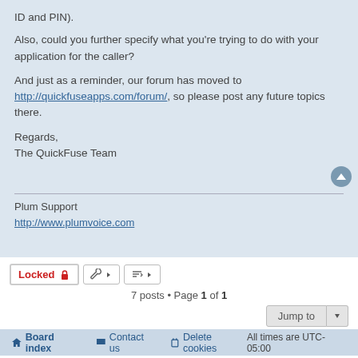ID and PIN).
Also, could you further specify what you're trying to do with your application for the caller?
And just as a reminder, our forum has moved to http://quickfuseapps.com/forum/, so please post any future topics there.
Regards,
The QuickFuse Team
Plum Support
http://www.plumvoice.com
7 posts • Page 1 of 1
Board index  Contact us  Delete cookies  All times are UTC-05:00
Powered by phpBB® Forum Software © phpBB Limited
Privacy | Terms